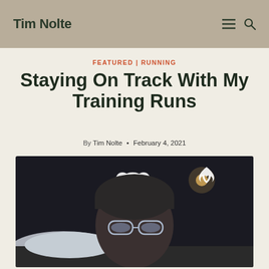Tim Nolte
FEATURED | RUNNING
Staying On Track With My Training Runs
By Tim Nolte • February 4, 2021
[Figure (photo): Night-time selfie of a person wearing a headlamp, glasses, and a dark beanie hat with a Mickey Mouse shape on the headlamp. Under Armour logo visible top right. Snowy scene in background with street lights.]